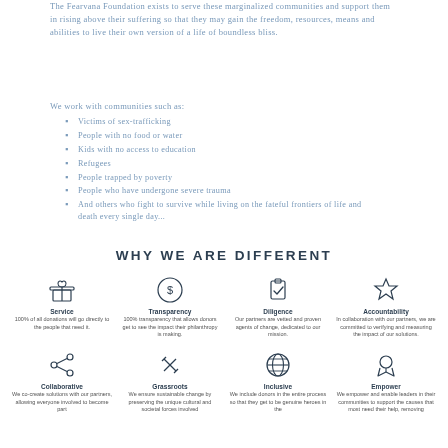The Fearvana Foundation exists to serve these marginalized communities and support them in rising above their suffering so that they may gain the freedom, resources, means and abilities to live their own version of a life of boundless bliss.
We work with communities such as:
Victims of sex-trafficking
People with no food or water
Kids with no access to education
Refugees
People trapped by poverty
People who have undergone severe trauma
And others who fight to survive while living on the fateful frontiers of life and death every single day...
WHY WE ARE DIFFERENT
[Figure (infographic): Four icons in two rows representing: Service (gift box icon), Transparency (dollar in circle icon), Diligence (clipboard with checkmark icon), Accountability (star icon), Collaborative (share icon), Grassroots (tools icon), Inclusive (globe icon), Empower (medal icon). Each icon is accompanied by a label and short description.]